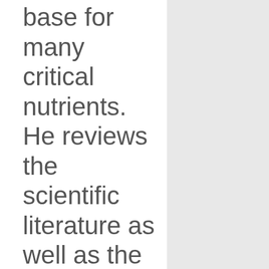base for many critical nutrients. He reviews the scientific literature as well as the USDA's own studies that show caloric